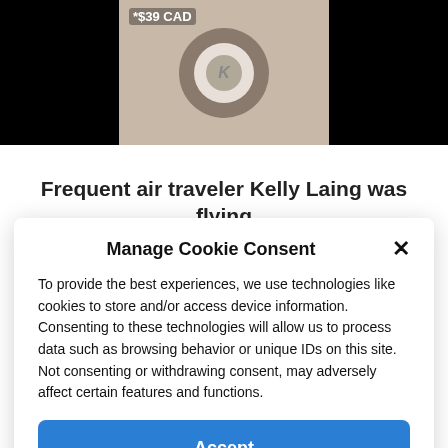[Figure (photo): Product photo of a Koss headphone earcup with a grey/taupe color. A price tag reading '*$39 CAD' is overlaid in the upper left of the photo. The earcup has a circular white cushion with a grey logo button in the center.]
Frequent air traveler Kelly Laing was flying
Manage Cookie Consent
To provide the best experiences, we use technologies like cookies to store and/or access device information. Consenting to these technologies will allow us to process data such as browsing behavior or unique IDs on this site. Not consenting or withdrawing consent, may adversely affect certain features and functions.
Accept
Cookie Policy